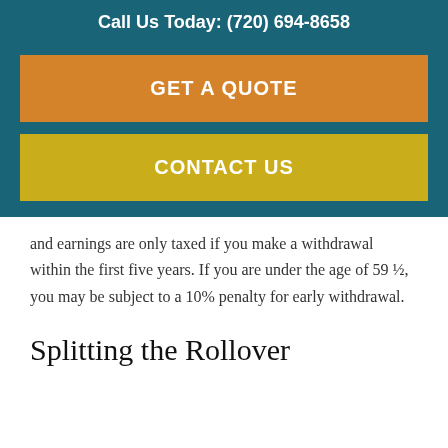Call Us Today: (720) 694-8658
GET A QUOTE
CONTACT US
and earnings are only taxed if you make a withdrawal within the first five years. If you are under the age of 59 ½, you may be subject to a 10% penalty for early withdrawal.
Splitting the Rollover